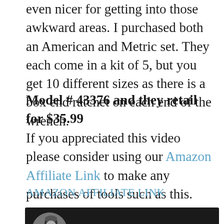even nicer for getting into those awkward areas. I purchased both an American and Metric set. They each come in a kit of 5, but you get 10 different sizes as there is a box end ratchet on each end of the wrench.
Model # 43376 and they retail for $35.99
If you appreciated this video please consider using our Amazon Affiliate Link to make any purchases of tools such as this.
AMAZON AFFILIATE LINK
[Figure (screenshot): Video thumbnail showing a black and white photo of a person in a beanie hat, with title 'Craftsman 5 Piece Metric & Ameri...' on a dark background with three-dot menu icon]